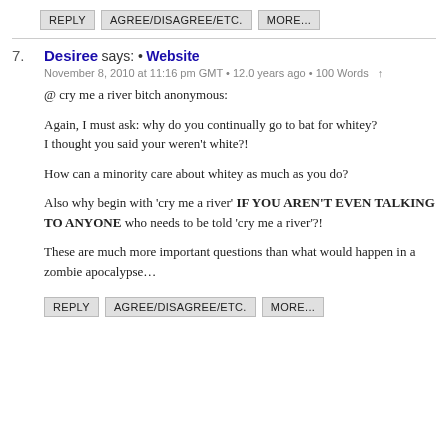REPLY   AGREE/DISAGREE/ETC.   MORE...
7. Desiree says: • Website
November 8, 2010 at 11:16 pm GMT • 12.0 years ago • 100 Words  ↑

@ cry me a river bitch anonymous:

Again, I must ask: why do you continually go to bat for whitey? I thought you said your weren't white?!

How can a minority care about whitey as much as you do?

Also why begin with 'cry me a river' IF YOU AREN'T EVEN TALKING TO ANYONE who needs to be told 'cry me a river'?!

These are much more important questions than what would happen in a zombie apocalypse…
REPLY   AGREE/DISAGREE/ETC.   MORE...